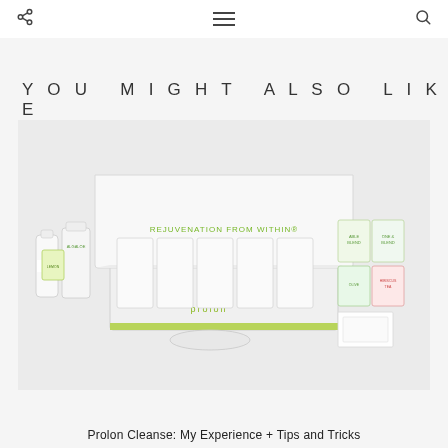Navigation header with share, menu, and search icons
YOU MIGHT ALSO LIKE
[Figure (photo): Prolon fasting meal kit product box open showing five day meal packs, labeled 'REJUVENATION FROM WITHIN', with supplement bottles and tea packets on the sides]
Prolon Cleanse: My Experience + Tips and Tricks